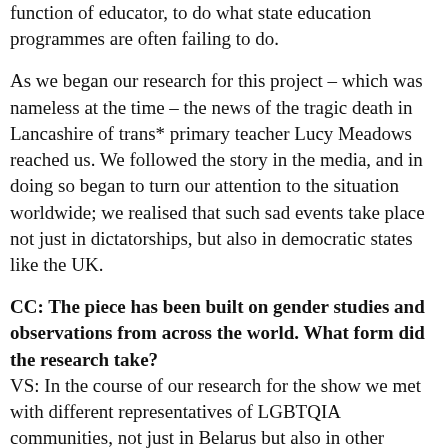function of educator, to do what state education programmes are often failing to do.
As we began our research for this project – which was nameless at the time – the news of the tragic death in Lancashire of trans* primary teacher Lucy Meadows reached us. We followed the story in the media, and in doing so began to turn our attention to the situation worldwide; we realised that such sad events take place not just in dictatorships, but also in democratic states like the UK.
CC: The piece has been built on gender studies and observations from across the world. What form did the research take?
VS: In the course of our research for the show we met with different representatives of LGBTQIA communities, not just in Belarus but also in other countries: transgender people in Malaysia, drag performers in Thailand, sex-workers in Ghana, and